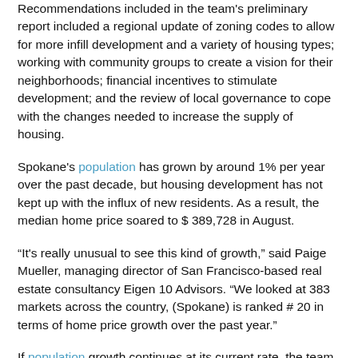Recommendations included in the team's preliminary report included a regional update of zoning codes to allow for more infill development and a variety of housing types; working with community groups to create a vision for their neighborhoods; financial incentives to stimulate development; and the review of local governance to cope with the changes needed to increase the supply of housing.
Spokane's population has grown by around 1% per year over the past decade, but housing development has not kept up with the influx of new residents. As a result, the median home price soared to $ 389,728 in August.
“It's really unusual to see this kind of growth,” said Paige Mueller, managing director of San Francisco-based real estate consultancy Eigen 10 Advisors. “We looked at 383 markets across the country, (Spokane) is ranked # 20 in terms of home price growth over the past year.”
If population growth continues at its current rate, the team cited by